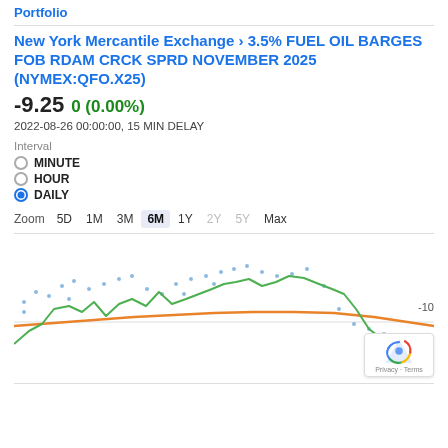Portfolio
New York Mercantile Exchange › 3.5% FUEL OIL BARGES FOB RDAM CRCK SPRD NOVEMBER 2025 (NYMEX:QFO.X25)
-9.25 0 (0.00%)
2022-08-26 00:00:00, 15 MIN DELAY
Interval
MINUTE
HOUR
DAILY
Zoom  5D  1M  3M  6M  1Y  2Y  5Y  Max
[Figure (continuous-plot): Line chart showing price movement over 6 months. Two lines: a green line showing daily price data with significant volatility (starts around -10, rises to peak around -5, then falls back toward -10), and an orange trend line that gradually increases then decreases. Blue dotted scatter points also visible above the lines.]